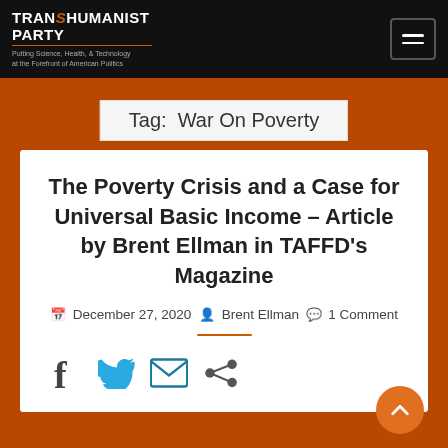TRANSHUMANIST PARTY — Putting Science, Health, & Technology at the Forefront of American Politics
Tag: War On Poverty
The Poverty Crisis and a Case for Universal Basic Income – Article by Brent Ellman in TAFFD's Magazine
December 27, 2020  Brent Ellman  1 Comment
[Figure (infographic): Social share icons: Facebook, Twitter, Email, Share]